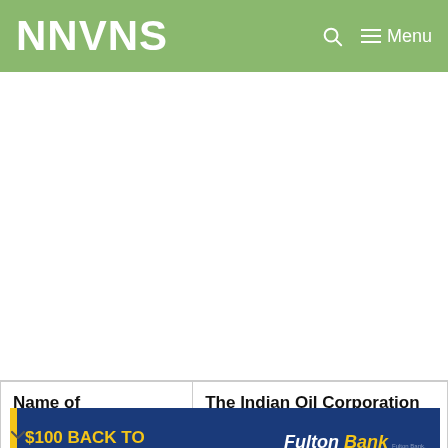NNVNS
| Name of Organization (Managing Body) | The Indian Oil Corporation Limited (IOCL) |
[Figure (other): Fulton Bank $100 Back to School Bonus advertisement banner. Yellow text reads '$100 BACK TO SCHOOL BONUS!' with tagline 'When you open an Xpress Account.' Fulton Bank logo on right with 'LEARN MORE' button.]